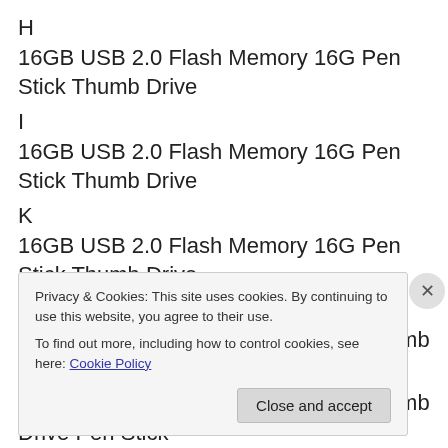H
16GB USB 2.0 Flash Memory 16G Pen Stick Thumb Drive
I
16GB USB 2.0 Flash Memory 16G Pen Stick Thumb Drive
K
16GB USB 2.0 Flash Memory 16G Pen Stick Thumb Drive
W
16GB USB 2.0 Flash Memory 16G Thumb Drive Pen Stick
16GB USB 2.0 Flash Memory 16G Thumb Drive Pen Stick
3
16GB USB 2.0 Flash Memory 16G Thumb Drive Pen Stick
Privacy & Cookies: This site uses cookies. By continuing to use this website, you agree to their use.
To find out more, including how to control cookies, see here: Cookie Policy